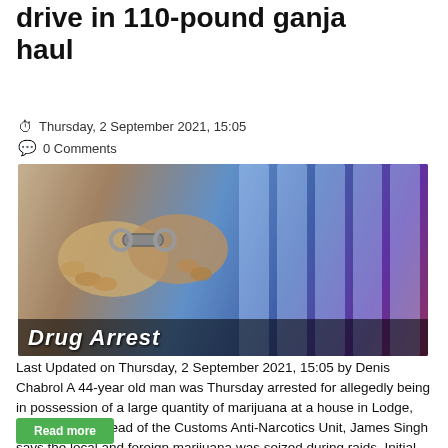drive in 110-pound ganja haul
Thursday, 2 September 2021, 15:05
0 Comments
[Figure (photo): Photo showing handcuffed hands against a blue lit jail bar background with 'Drug Arrest' text overlay]
Last Updated on Thursday, 2 September 2021, 15:05 by Denis Chabrol A 44-year old man was Thursday arrested for allegedly being in possession of a large quantity of marijuana at a house in Lodge, Georgetown.  Head of the Customs Anti-Narcotics Unit, James Singh says the local and foreign marijuana was seized during raids. Initial estimates are that the marijuana weighed ...